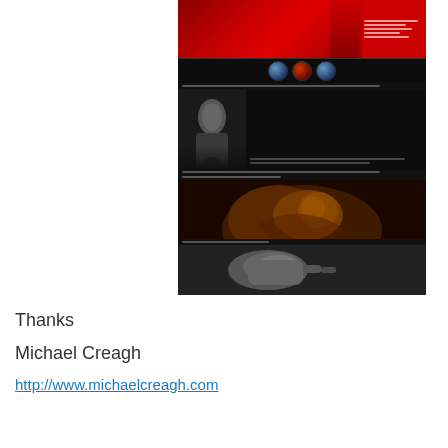[Figure (screenshot): A screenshot of a photography portfolio website with dark background showing multiple photography images: top section has a red-dressed woman composite, middle section shows a black and white portrait, below that is a warm-toned portrait of a woman, and at the bottom is a black and white fist/hand image.]
Thanks
Michael Creagh
http://www.michaelcreagh.com